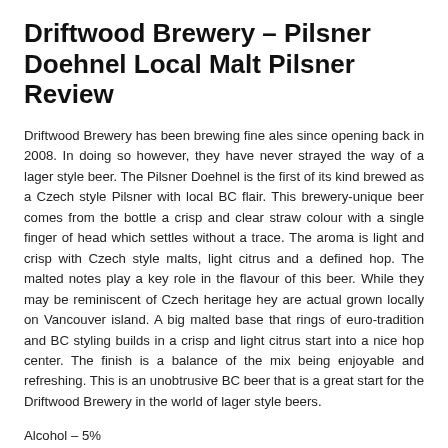Driftwood Brewery – Pilsner Doehnel Local Malt Pilsner Review
Driftwood Brewery has been brewing fine ales since opening back in 2008. In doing so however, they have never strayed the way of a lager style beer. The Pilsner Doehnel is the first of its kind brewed as a Czech style Pilsner with local BC flair. This brewery-unique beer comes from the bottle a crisp and clear straw colour with a single finger of head which settles without a trace. The aroma is light and crisp with Czech style malts, light citrus and a defined hop. The malted notes play a key role in the flavour of this beer. While they may be reminiscent of Czech heritage hey are actual grown locally on Vancouver island. A big malted base that rings of euro-tradition and BC styling builds in a crisp and light citrus start into a nice hop center. The finish is a balance of the mix being enjoyable and refreshing. This is an unobtrusive BC beer that is a great start for the Driftwood Brewery in the world of lager style beers.
Alcohol – 5%